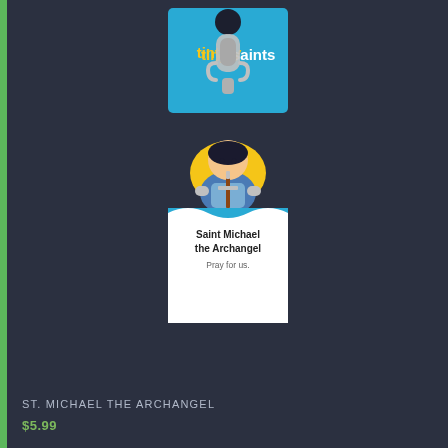[Figure (photo): Product photo of a Tiny Saints Saint Michael the Archangel charm/zipper pull on branded packaging card. The card has a blue header with 'tiny saints' logo, a clip/lobster claw clasp, and an enamel charm depicting Saint Michael as a cute cartoon figure with yellow wings, blue armor, and a sword. The white lower card reads 'Saint Michael the Archangel' in bold and 'Pray for us.' in smaller text.]
ST. MICHAEL THE ARCHANGEL
$5.99